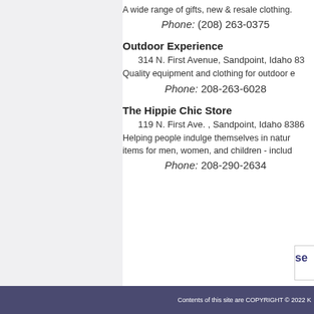A wide range of gifts, new & resale clothing.
Phone: (208) 263-0375
Outdoor Experience
314 N. First Avenue, Sandpoint, Idaho 83...
Quality equipment and clothing for outdoor e...
Phone: 208-263-6028
The Hippie Chic Store
119 N. First Ave. , Sandpoint, Idaho 8386...
Helping people indulge themselves in natura...
items for men, women, and children - includ...
Phone: 208-290-2634
Contents of this site are COPYRIGHT © 2022 K...